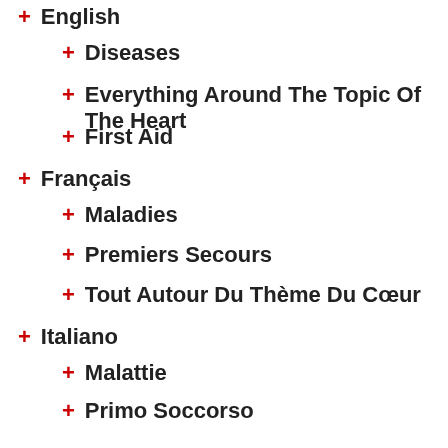English
Diseases
Everything Around The Topic Of The Heart
First Aid
Français
Maladies
Premiers Secours
Tout Autour Du Thème Du Cœur
Italiano
Malattie
Primo Soccorso
Tutto Ciò Che Circonda Il Cuore
Taris